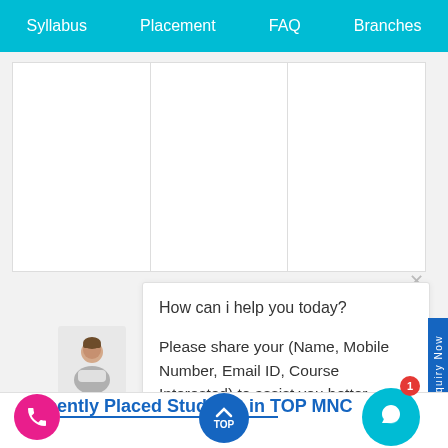Syllabus   Placement   FAQ   Branches
[Figure (screenshot): Empty card/grid area with white boxes and column dividers]
How can i help you today?

Please share your (Name, Mobile Number, Email ID, Course Interested) to assist you better.
Sophia   just now
Recently Placed Students in TOP MNC